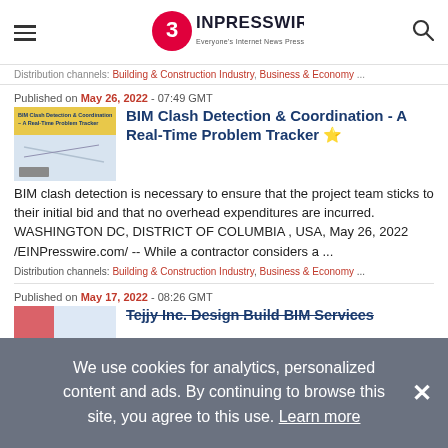EINPresswire — Everyone's Internet News Presswire
Distribution channels: Building & Construction Industry, Business & Economy ...
Published on May 26, 2022 - 07:49 GMT
BIM Clash Detection & Coordination - A Real-Time Problem Tracker ⭐
BIM clash detection is necessary to ensure that the project team sticks to their initial bid and that no overhead expenditures are incurred. WASHINGTON DC, DISTRICT OF COLUMBIA , USA, May 26, 2022 /EINPresswire.com/ -- While a contractor considers a ...
Distribution channels: Building & Construction Industry, Business & Economy ...
Published on May 17, 2022 - 08:26 GMT
Tejjy Inc. Design Build BIM Services
We use cookies for analytics, personalized content and ads. By continuing to browse this site, you agree to this use. Learn more